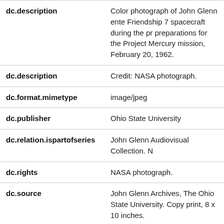| Field | Value |
| --- | --- |
| dc.description | Color photograph of John Glenn entering the Friendship 7 spacecraft during the pre-launch preparations for the Project Mercury mission, February 20, 1962. |
| dc.description | Credit: NASA photograph. |
| dc.format.mimetype | image/jpeg |
| dc.publisher | Ohio State University |
| dc.relation.ispartofseries | John Glenn Audiovisual Collection. N... |
| dc.rights | NASA photograph. |
| dc.source | John Glenn Archives, The Ohio State University. Copy print, 8 x 10 inches. |
| dc.subject | John Glenn |
| dc.subject | Project Mercury |
| dc.subject | Friendship 7 |